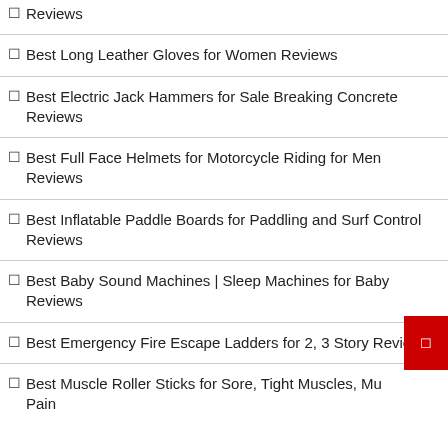Reviews
Best Long Leather Gloves for Women Reviews
Best Electric Jack Hammers for Sale Breaking Concrete Reviews
Best Full Face Helmets for Motorcycle Riding for Men Reviews
Best Inflatable Paddle Boards for Paddling and Surf Control Reviews
Best Baby Sound Machines | Sleep Machines for Baby Reviews
Best Emergency Fire Escape Ladders for 2, 3 Story Reviews
Best Muscle Roller Sticks for Sore, Tight Muscles, Mu… Pain